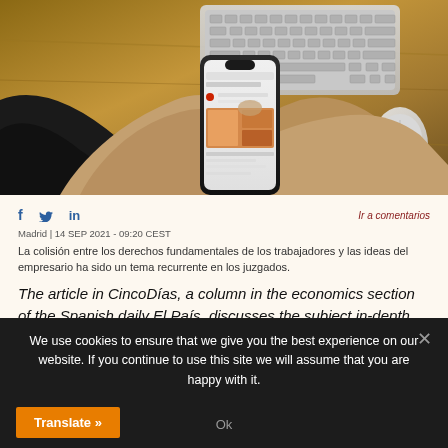[Figure (photo): Person holding a smartphone while sitting at a wooden desk with a keyboard and mouse visible in the background. The phone displays a social media or news feed.]
f  Twitter  in
Ir a comentarios
Madrid | 14 SEP 2021 - 09:20 CEST
La colisión entre los derechos fundamentales de los trabajadores y las ideas del empresario ha sido un tema recurrente en los juzgados.
The article in CincoDías, a column in the economics section of the Spanish daily El País, discusses the subject in-depth and
We use cookies to ensure that we give you the best experience on our website. If you continue to use this site we will assume that you are happy with it.
Ok
Translate »